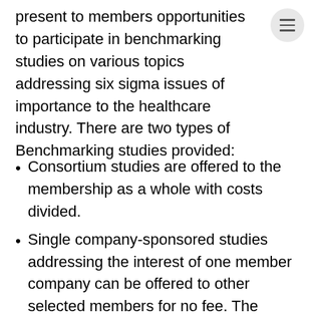present to members opportunities to participate in benchmarking studies on various topics addressing six sigma issues of importance to the healthcare industry. There are two types of Benchmarking studies provided:
Consortium studies are offered to the membership as a whole with costs divided.
Single company-sponsored studies addressing the interest of one member company can be offered to other selected members for no fee. The association will also support the six sigma benchmarking efforts: